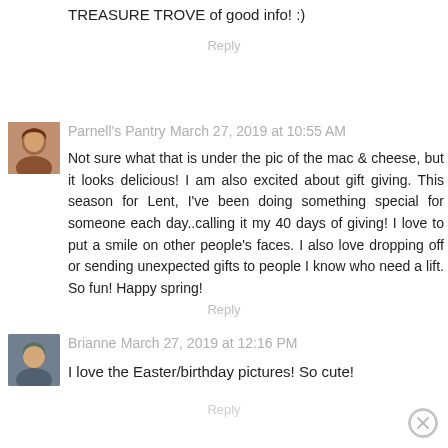TREASURE TROVE of good info! :)
Reply
Parnell's Pantry March 27, 2019 at 10:55 AM
Not sure what that is under the pic of the mac & cheese, but it looks delicious! I am also excited about gift giving. This season for Lent, I've been doing something special for someone each day..calling it my 40 days of giving! I love to put a smile on other people's faces. I also love dropping off or sending unexpected gifts to people I know who need a lift. So fun! Happy spring!
Reply
Brianne March 27, 2019 at 12:16 PM
I love the Easter/birthday pictures! So cute!
Reply